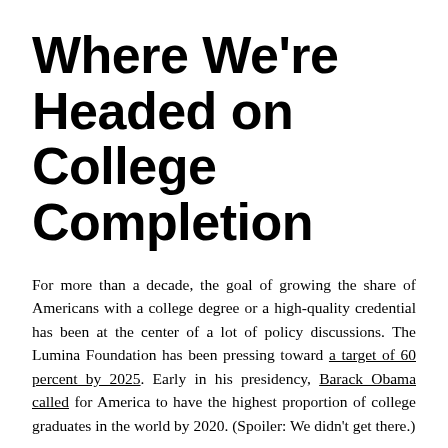Where We're Headed on College Completion
For more than a decade, the goal of growing the share of Americans with a college degree or a high-quality credential has been at the center of a lot of policy discussions. The Lumina Foundation has been pressing toward a target of 60 percent by 2025. Early in his presidency, Barack Obama called for America to have the highest proportion of college graduates in the world by 2020. (Spoiler: We didn't get there.)
Along the way, 45 states set college-completion